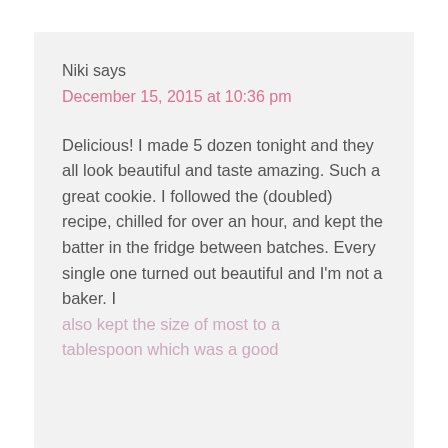Niki says
December 15, 2015 at 10:36 pm
Delicious! I made 5 dozen tonight and they all look beautiful and taste amazing. Such a great cookie. I followed the (doubled) recipe, chilled for over an hour, and kept the batter in the fridge between batches. Every single one turned out beautiful and I'm not a baker. I also kept the size of most to a tablespoon which was a good